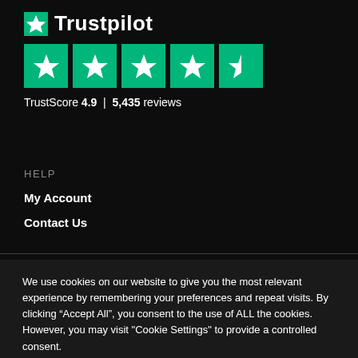[Figure (logo): Trustpilot logo with green star icon and bold 'Trustpilot' text]
[Figure (other): Five green star rating boxes (4.9 out of 5 stars)]
TrustScore 4.9 | 5,435 reviews
HELP
My Account
Contact Us
We use cookies on our website to give you the most relevant experience by remembering your preferences and repeat visits. By clicking “Accept All”, you consent to the use of ALL the cookies. However, you may visit "Cookie Settings" to provide a controlled consent.
Cookie Settings | Accept All